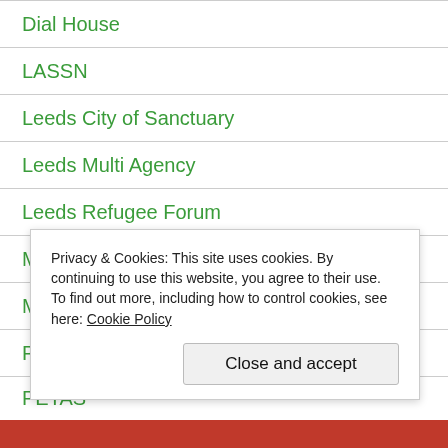Dial House
LASSN
Leeds City of Sanctuary
Leeds Multi Agency
Leeds Refugee Forum
Manuel Bravo Project
Meeting Point Leeds
PAFRAS
PETAS
Privacy & Cookies: This site uses cookies. By continuing to use this website, you agree to their use.
To find out more, including how to control cookies, see here: Cookie Policy
Close and accept